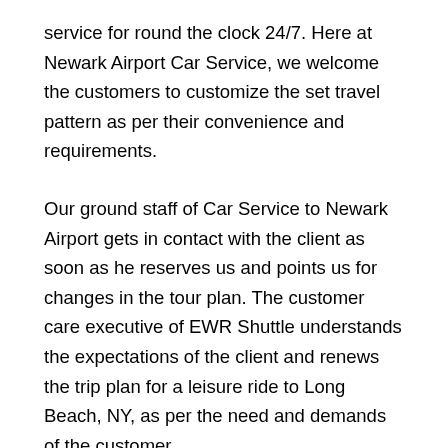service for round the clock 24/7. Here at Newark Airport Car Service, we welcome the customers to customize the set travel pattern as per their convenience and requirements.
Our ground staff of Car Service to Newark Airport gets in contact with the client as soon as he reserves us and points us for changes in the tour plan. The customer care executive of EWR Shuttle understands the expectations of the client and renews the trip plan for a leisure ride to Long Beach, NY, as per the need and demands of the customer.
We have years of experience in providing perfect car rental services to our clients in Long Beach, NY